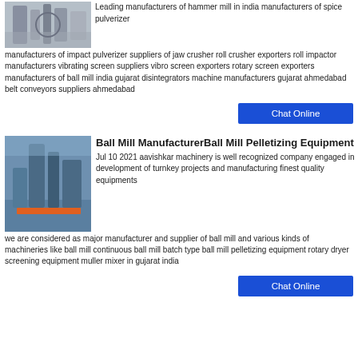[Figure (photo): Industrial machinery, hammer mill or pulverizer equipment, gray metal pipes and tanks]
Leading manufacturers of hammer mill in india manufacturers of spice pulverizer manufacturers of impact pulverizer suppliers of jaw crusher roll crusher exporters roll impactor manufacturers vibrating screen suppliers vibro screen exporters rotary screen exporters manufacturers of ball mill india gujarat disintegrators machine manufacturers gujarat ahmedabad belt conveyors suppliers ahmedabad
Chat Online
Ball Mill ManufacturerBall Mill Pelletizing Equipment
[Figure (photo): Industrial ball mill equipment outdoors, blue metal structure with pipes and machinery against blue sky]
Jul 10 2021  aavishkar machinery is well recognized company engaged in development of turnkey projects and manufacturing finest quality equipments we are considered as major manufacturer and supplier of ball mill and various kinds of machineries like ball mill continuous ball mill batch type ball mill pelletizing equipment rotary dryer screening equipment muller mixer in gujarat india
Chat Online